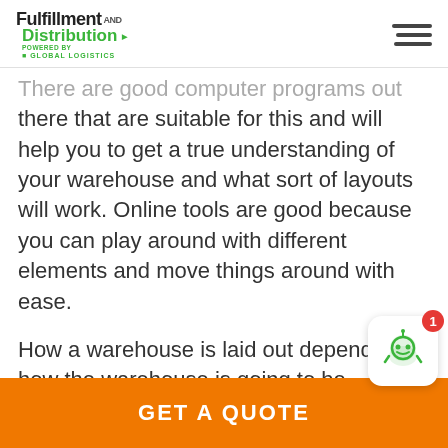Fulfillment AND Distribution [powered by Global Logistics]
There are good computer programs out there that are suitable for this and will help you to get a true understanding of your warehouse and what sort of layouts will work. Online tools are good because you can play around with different elements and move things around with ease.
How a warehouse is laid out depends on how the warehouse is going to be
GET A QUOTE